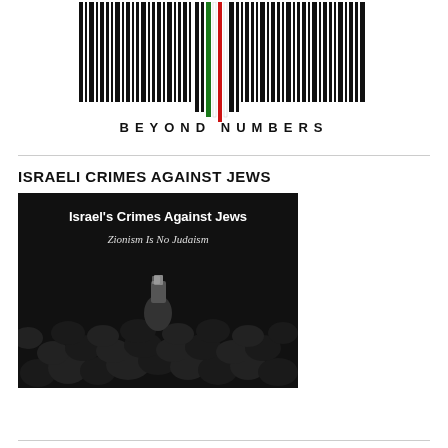[Figure (logo): Barcode logo with Palestinian flag colors (black, white, green, red) in the center bars, with text 'BEYOND NUMBERS' beneath it]
ISRAELI CRIMES AGAINST JEWS
[Figure (photo): Dark image of a crowd of people, mostly in dark clothing, with one person holding up a phone/camera. Overlaid text reads: "Israel's Crimes Against Jews" and "Zionism Is No Judaism"]